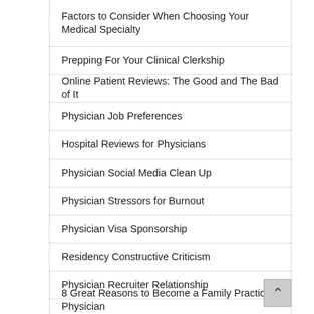Factors to Consider When Choosing Your Medical Specialty
Prepping For Your Clinical Clerkship
Online Patient Reviews: The Good and The Bad of It
Physician Job Preferences
Hospital Reviews for Physicians
Physician Social Media Clean Up
Physician Stressors for Burnout
Physician Visa Sponsorship
Residency Constructive Criticism
Physician Recruiter Relationship
8 Great Reasons to Become a Family Practice Physician